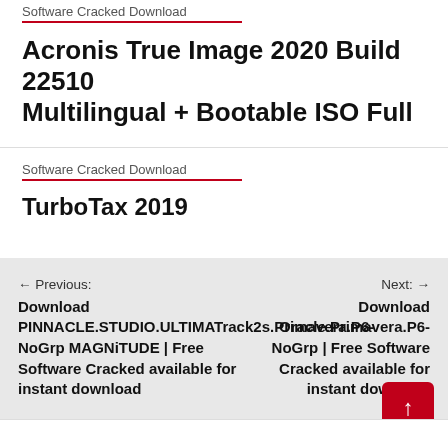Software Cracked Download
Acronis True Image 2020 Build 22510 Multilingual + Bootable ISO Full
Software Cracked Download
TurboTax 2019
← Previous: Download PINNACLE.STUDIO.ULTIMATE.v1...MAGNiTUDE | Free Software Cracked available for instant download
Next: → Download Oracle.Primavera.P6-NoGrp | Free Software Cracked available for instant download